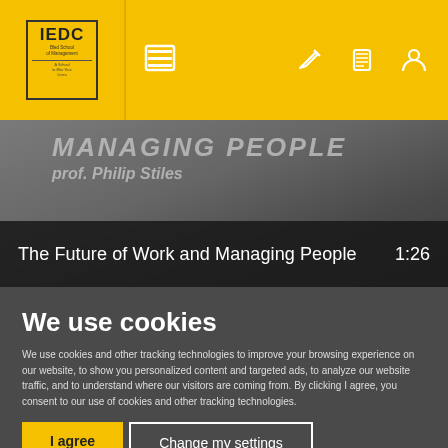[Figure (screenshot): IEDC navigation bar with logo, menu icon, and icons for edit, phone/conference, and user profile on yellow background]
[Figure (screenshot): Video thumbnail showing 'MANAGING PEOPLE - prof. Philip Stiles' text overlay on dark background, with title bar 'The Future of Work and Managing People' and duration '1:26']
We use cookies
We use cookies and other tracking technologies to improve your browsing experience on our website, to show you personalized content and targeted ads, to analyze our website traffic, and to understand where our visitors are coming from. By clicking I agree, you consent to our use of cookies and other tracking technologies.
I agree
Change my settings